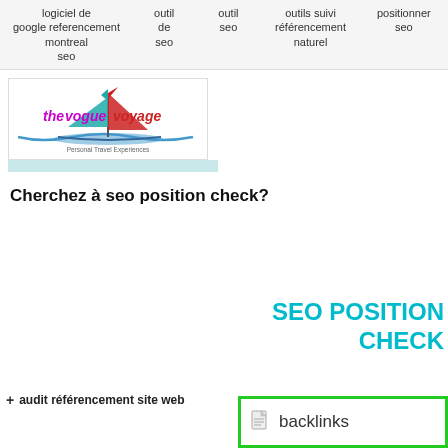logiciel de google referencement montreal seo | outil de seo | outil seo | outils suivi référencement naturel | positionner seo
[Figure (logo): thevoguevoyage logo with sailboat graphic and tagline text]
Cherchez à seo position check?
SEO POSITION CHECK
audit référencement site web
backlinks